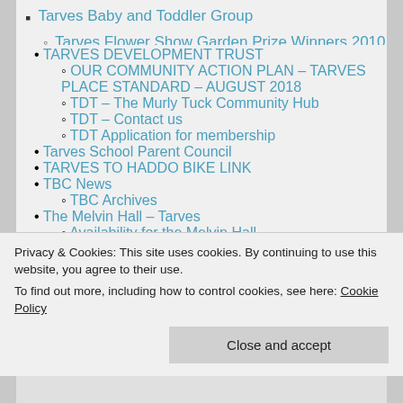Tarves Baby and Toddler Group
Tarves Flower Show Garden Prize Winners 2010
TARVES DEVELOPMENT TRUST
OUR COMMUNITY ACTION PLAN – TARVES PLACE STANDARD – AUGUST 2018
TDT – The Murly Tuck Community Hub
TDT – Contact us
TDT Application for membership
Tarves School Parent Council
TARVES TO HADDO BIKE LINK
TBC News
TBC Archives
The Melvin Hall – Tarves
Availability for the Melvin Hall
Privacy & Cookies: This site uses cookies. By continuing to use this website, you agree to their use.
To find out more, including how to control cookies, see here: Cookie Policy
Close and accept